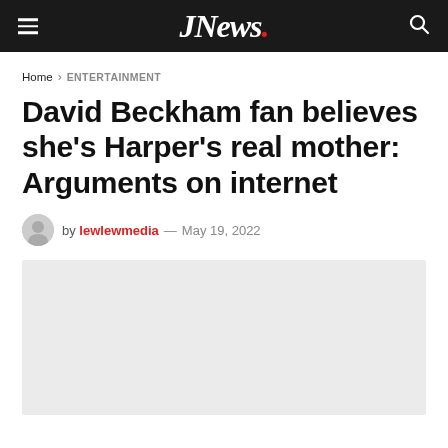JNews.
Home › ENTERTAINMENT
David Beckham fan believes she's Harper's real mother: Arguments on internet
by lewlewmedia — May 19, 2022
[Figure (photo): Article hero image placeholder, light gray background]